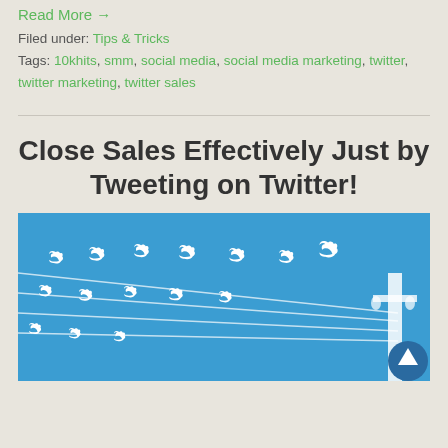Read More →
Filed under: Tips & Tricks
Tags: 10khits, smm, social media, social media marketing, twitter, twitter marketing, twitter sales
Close Sales Effectively Just by Tweeting on Twitter!
[Figure (illustration): Blue background illustration showing multiple white Twitter bird logos sitting on telephone/power lines converging to a pole on the right side. A dark circular scroll-to-top button is visible in the bottom-right corner.]